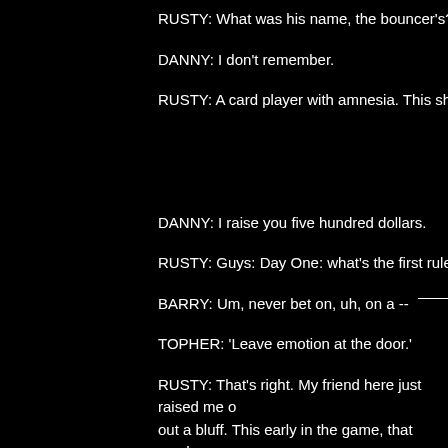RUSTY: What was his name, the bouncer's?
DANNY: I don't remember.
RUSTY: A card player with amnesia. This should be
DANNY: I raise you five hundred dollars.
RUSTY: Guys: Day One: what's the first rule of poke
BARRY: Um, never bet on, uh, on a --
TOPHER: 'Leave emotion at the door.'
RUSTY: That's right. My friend here just raised me o out a bluff. This early in the game, that much money than a pair of face cards. Seth, raise him.
SETH: Okay. Uh, your five hundred and... another t
RUSTY: Tophe...
TOPHER: Seven to me. Plus three. What the hell.
RUSTY: Indeed. But be careful you don't push him